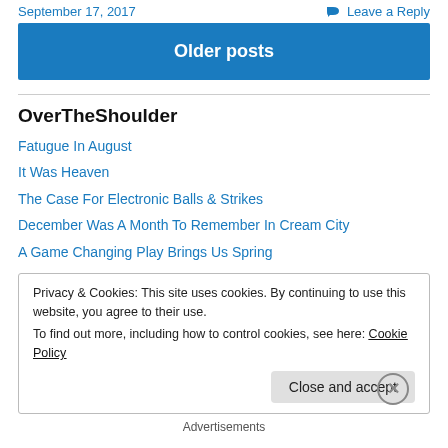September 17, 2017 | Leave a Reply
Older posts
OverTheShoulder
Fatugue In August
It Was Heaven
The Case For Electronic Balls & Strikes
December Was A Month To Remember In Cream City
A Game Changing Play Brings Us Spring
Privacy & Cookies: This site uses cookies. By continuing to use this website, you agree to their use.
To find out more, including how to control cookies, see here: Cookie Policy
Close and accept
Advertisements